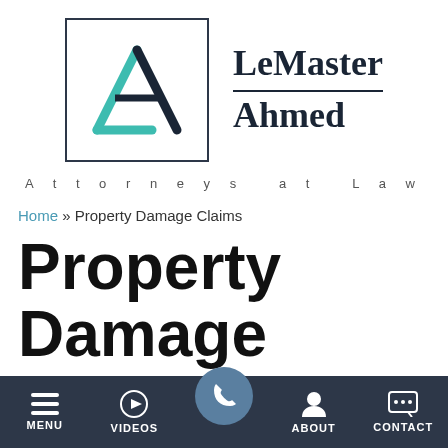[Figure (logo): LeMaster Ahmed Attorneys at Law logo — geometric A shape in teal and dark navy inside a square border, with firm name 'LeMaster Ahmed' in serif font and 'Attorneys at Law' spaced below]
Home » Property Damage Claims
Property Damage Claims
MENU | VIDEOS | (phone) | ABOUT | CONTACT